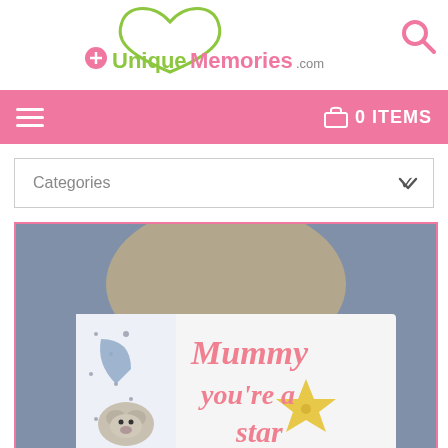[Figure (logo): UniqueMemories.com logo with green heart shape and pink/green text]
[Figure (screenshot): Search icon (magnifying glass) in pink on white background]
≡   🛒 0 ITEMS
Categories ∨
[Figure (photo): Photo of child holding a book that reads 'Mummy you're a star' with illustrated bear, moon, and star characters]